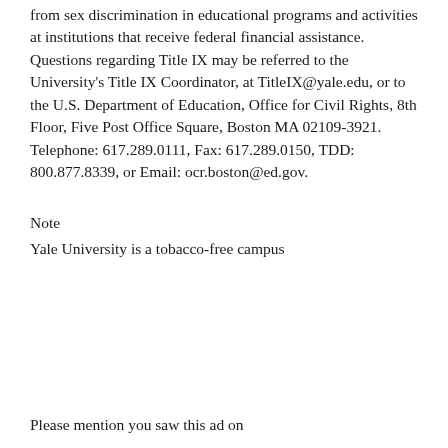from sex discrimination in educational programs and activities at institutions that receive federal financial assistance. Questions regarding Title IX may be referred to the University's Title IX Coordinator, at TitleIX@yale.edu, or to the U.S. Department of Education, Office for Civil Rights, 8th Floor, Five Post Office Square, Boston MA 02109-3921. Telephone: 617.289.0111, Fax: 617.289.0150, TDD: 800.877.8339, or Email: ocr.boston@ed.gov.
Note
Yale University is a tobacco-free campus
Please mention you saw this ad on